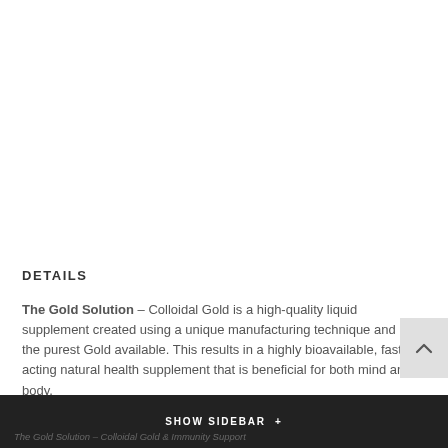DETAILS
The Gold Solution – Colloidal Gold is a high-quality liquid supplement created using a unique manufacturing technique and the purest Gold available. This results in a highly bioavailable, fast-acting natural health supplement that is beneficial for both mind and body.
SHOW SIDEBAR +